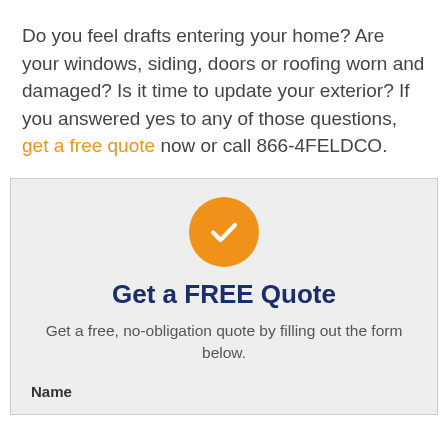Do you feel drafts entering your home? Are your windows, siding, doors or roofing worn and damaged? Is it time to update your exterior? If you answered yes to any of those questions, get a free quote now or call 866-4FELDCO.
[Figure (illustration): Orange circle with white checkmark icon]
Get a FREE Quote
Get a free, no-obligation quote by filling out the form below.
Name